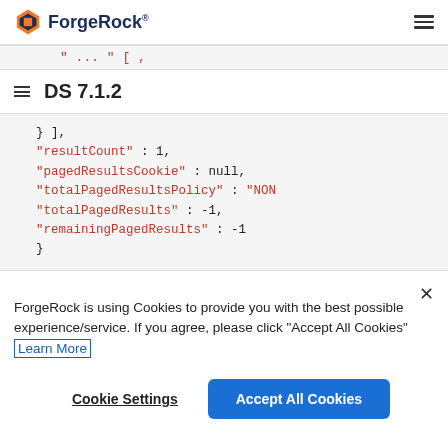ForgeRock DS 7.1.2
[Figure (screenshot): Code snippet showing JSON response fields: resultCount, pagedResultsCookie, totalPagedResultsPolicy, totalPagedResults, remainingPagedResults]
ForgeRock is using Cookies to provide you with the best possible experience/service. If you agree, please click "Accept All Cookies" Learn More
Cookie Settings   Accept All Cookies